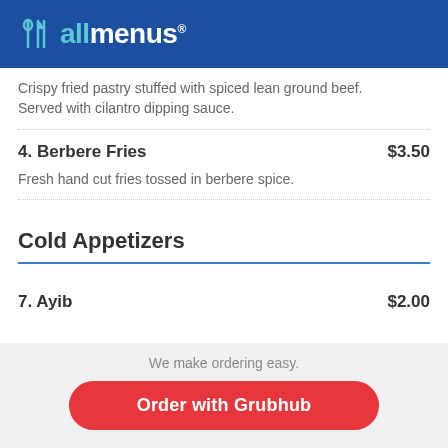[Figure (logo): allmenus logo with fork/knife icon on blue background]
Crispy fried pastry stuffed with spiced lean ground beef. Served with cilantro dipping sauce.
4. Berbere Fries   $3.50
Fresh hand cut fries tossed in berbere spice.
Cold Appetizers
7. Ayib   $2.00
We make ordering easy.
Order with Grubhub